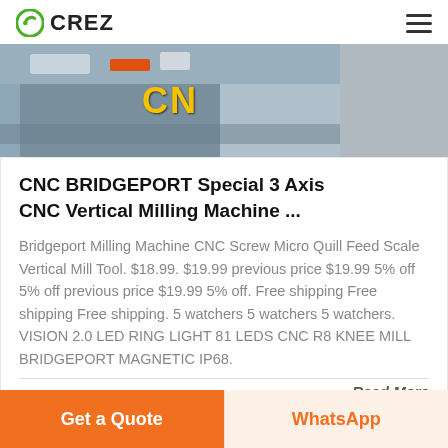CREZ
[Figure (photo): CNC Bridgeport milling machine workshop photo with yellow CN text label visible on machine.]
CNC BRIDGEPORT Special 3 Axis CNC Vertical Milling Machine ...
Bridgeport Milling Machine CNC Screw Micro Quill Feed Scale Vertical Mill Tool. $18.99. $19.99 previous price $19.99 5% off 5% off previous price $19.99 5% off. Free shipping Free shipping Free shipping. 5 watchers 5 watchers 5 watchers. VISION 2.0 LED RING LIGHT 81 LEDS CNC R8 KNEE MILL BRIDGEPORT MAGNETIC IP68.
Read More
Get a Quote
WhatsApp